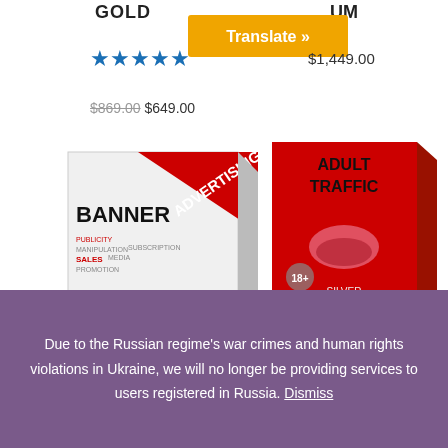GOLD
UM
[Figure (screenshot): Orange Translate button]
$1,449.00
[Figure (illustration): Five gold star rating]
$869.00 $649.00
[Figure (illustration): Banner Advertising product box - white and red box with text BANNER ADVERTISING, WebTargetedTraffic.com]
[Figure (illustration): Adult Traffic Silver product box - red box with lips image, ADULT TRAFFIC, SILVER, WebTargetedTraffic.com]
Banner Advertising Service – 1stURL.com
Targeted Adult Traffic – SILVER
[Figure (illustration): Five blue star rating for Targeted Adult Traffic]
Due to the Russian regime's war crimes and human rights violations in Ukraine, we will no longer be providing services to users registered in Russia. Dismiss